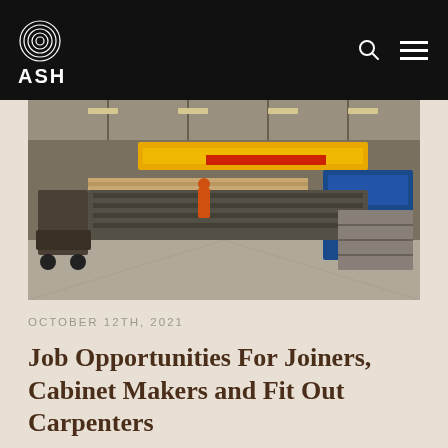ASH
[Figure (photo): Interior of a large timber manufacturing facility with yellow automated machinery, conveyor systems, metal racking, forklift, and workers in high-vis clothing on a concrete floor.]
OCTOBER 12TH, 2021
Job Opportunities For Joiners, Cabinet Makers and Fit Out Carpenters